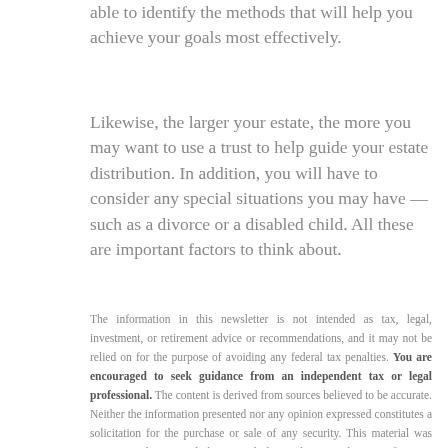able to identify the methods that will help you achieve your goals most effectively.
Likewise, the larger your estate, the more you may want to use a trust to help guide your estate distribution. In addition, you will have to consider any special situations you may have — such as a divorce or a disabled child. All these are important factors to think about.
The information in this newsletter is not intended as tax, legal, investment, or retirement advice or recommendations, and it may not be relied on for the purpose of avoiding any federal tax penalties. You are encouraged to seek guidance from an independent tax or legal professional. The content is derived from sources believed to be accurate. Neither the information presented nor any opinion expressed constitutes a solicitation for the purchase or sale of any security. This material was written and prepared by Broadridge Advisor Solutions. © 2022 Broadridge Financial